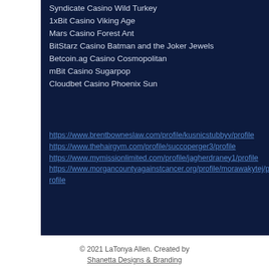Syndicate Casino Wild Turkey
1xBit Casino Viking Age
Mars Casino Forest Ant
BitStarz Casino Batman and the Joker Jewels
Betcoin.ag Casino Cosmopolitan
mBit Casino Sugarpop
Cloudbet Casino Phoenix Sun
https://www.brentbowneslaw.com/profile/kusnicstubbyv/profile
https://www.thehairgym.com/profile/succoperger3/profile
https://www.mymissionlimited.com/profile/jagherdraney1/profile
https://www.morgancountyagainstcancer.org/profile/morawakytej/profile
© 2021 LaTonya Allen. Created by Shanetta Designs & Branding